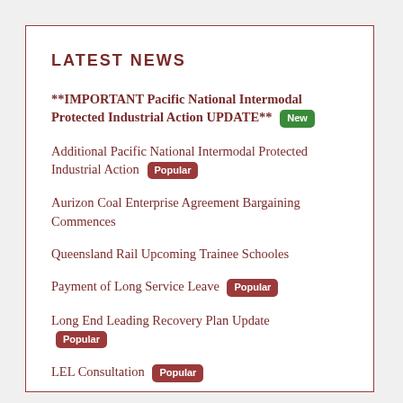LATEST NEWS
**IMPORTANT Pacific National Intermodal Protected Industrial Action UPDATE** [New]
Additional Pacific National Intermodal Protected Industrial Action [Popular]
Aurizon Coal Enterprise Agreement Bargaining Commences
Queensland Rail Upcoming Trainee Schooles
Payment of Long Service Leave [Popular]
Long End Leading Recovery Plan Update [Popular]
LEL Consultation [Popular]